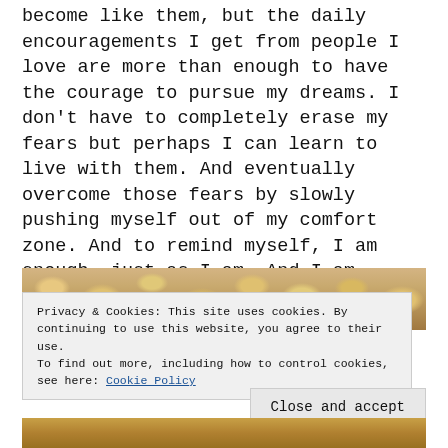become like them, but the daily encouragements I get from people I love are more than enough to have the courage to pursue my dreams. I don't have to completely erase my fears but perhaps I can learn to live with them. And eventually overcome those fears by slowly pushing myself out of my comfort zone. And to remind myself, I am enough, just as I am. And I am enough because I am. This part is probably called acceptance.
[Figure (photo): Close-up photo of golden baked biscuits/rolls, cropped at top of page]
Privacy & Cookies: This site uses cookies. By continuing to use this website, you agree to their use.
To find out more, including how to control cookies, see here: Cookie Policy
[Figure (photo): Bottom strip of biscuit/roll photo]